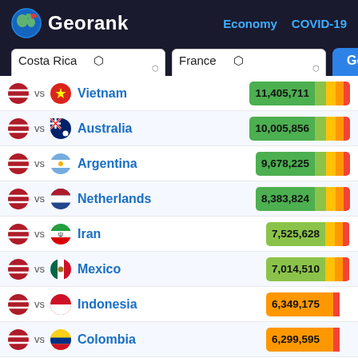Georank — Economy COVID-19
vs Vietnam 11,405,711
vs Australia 10,005,856
vs Argentina 9,678,225
vs Netherlands 8,383,824
vs Iran 7,525,628
vs Mexico 7,014,510
vs Indonesia 6,349,175
vs Colombia 6,299,595